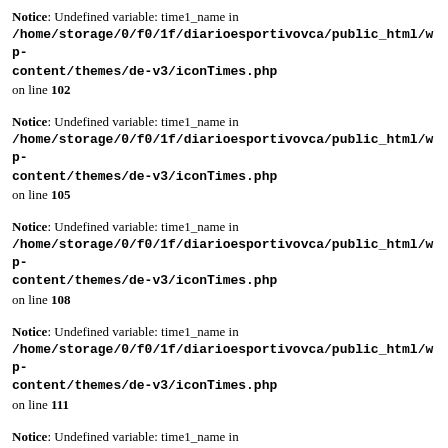Notice: Undefined variable: time1_name in /home/storage/0/f0/1f/diarioesportivovca/public_html/wp-content/themes/de-v3/iconTimes.PHP on line 102
Notice: Undefined variable: time1_name in /home/storage/0/f0/1f/diarioesportivovca/public_html/wp-content/themes/de-v3/iconTimes.PHP on line 105
Notice: Undefined variable: time1_name in /home/storage/0/f0/1f/diarioesportivovca/public_html/wp-content/themes/de-v3/iconTimes.PHP on line 108
Notice: Undefined variable: time1_name in /home/storage/0/f0/1f/diarioesportivovca/public_html/wp-content/themes/de-v3/iconTimes.PHP on line 111
Notice: Undefined variable: time1_name in /home/storage/0/f0/1f/diarioesportivovca/public_html/wp-content/themes/de-v3/iconTimes.PHP on line 114
Notice: Undefined variable: time1_name in /home/storage/0/f0/1f/diarioesportivovca/public_html/wp-content/themes/de-v3/iconTimes.PHP on line ...